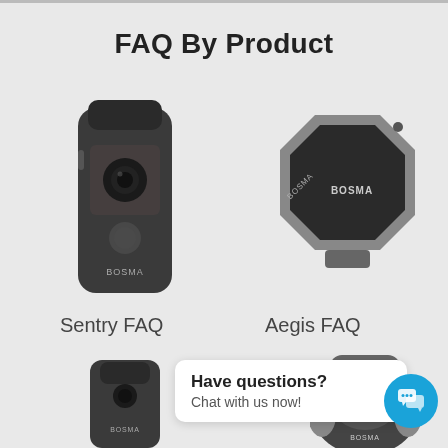FAQ By Product
[Figure (photo): Bosma Sentry smart doorbell camera device, dark gray color, front view]
[Figure (photo): Bosma Aegis smart lock device, octagonal shape, dark gray and gray color]
Sentry FAQ
Aegis FAQ
[Figure (photo): Bosma doorbell device, partial view, bottom left]
[Figure (photo): Bosma camera device, partial view, bottom right]
Have questions?
Chat with us now!